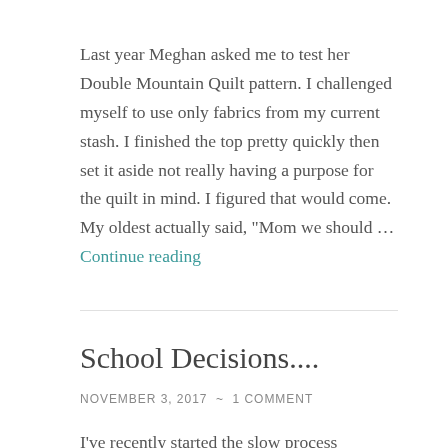Last year Meghan asked me to test her Double Mountain Quilt pattern. I challenged myself to use only fabrics from my current stash. I finished the top pretty quickly then set it aside not really having a purpose for the quilt in mind. I figured that would come. My oldest actually said, "Mom we should … Continue reading
School Decisions....
NOVEMBER 3, 2017  ~  1 COMMENT
I've recently started the slow process